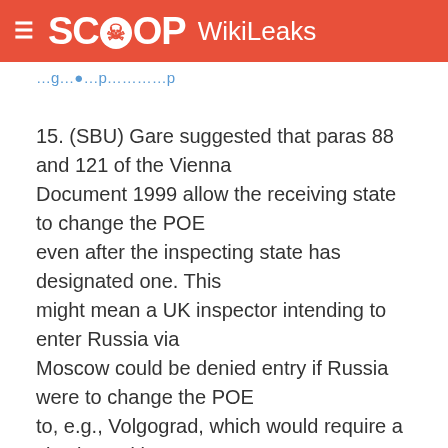SCOOP WikiLeaks
15. (SBU) Gare suggested that paras 88 and 121 of the Vienna Document 1999 allow the receiving state to change the POE even after the inspecting state has designated one. This might mean a UK inspector intending to enter Russia via Moscow could be denied entry if Russia were to change the POE to, e.g., Volgograd, which would require a visa issued in London rather than the "plane-side" visa available in